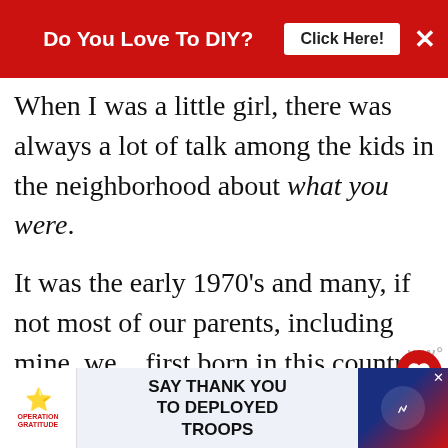Do You Love To DIY?  Click Here!
When I was a little girl, there was always a lot of talk among the kids in the neighborhood about what you were.
It was the early 1970's and many, if not most of our parents, including mine, were first born in this country and where you came from was big news.
My dad's family was from Italy a... mom's was from Albania.
SAY THANK YOU TO DEPLOYED TROOPS (Operation Gratitude ad)